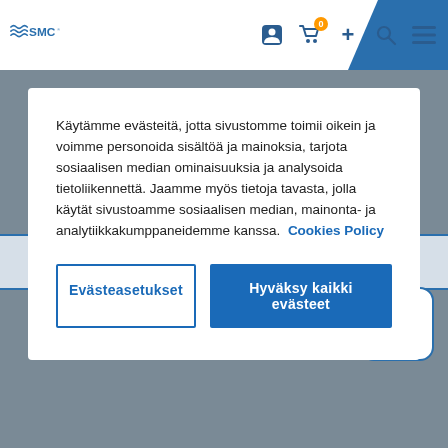[Figure (screenshot): SMC website header navigation bar with SMC logo on left, icons (user, cart with badge '0', plus, search, menu) on right, blue diagonal strip in top-right corner]
Käytämme evästeitä, jotta sivustomme toimii oikein ja voimme personoida sisältöä ja mainoksia, tarjota sosiaalisen median ominaisuuksia ja analysoida tietoliikennettä. Jaamme myös tietoja tavasta, jolla käytät sivustoamme sosiaalisen median, mainonta- ja analytiikkakumppaneidemme kanssa. Cookies Policy
Evästeasetukset
Hyväksy kaikki evästeet
Ask our experts